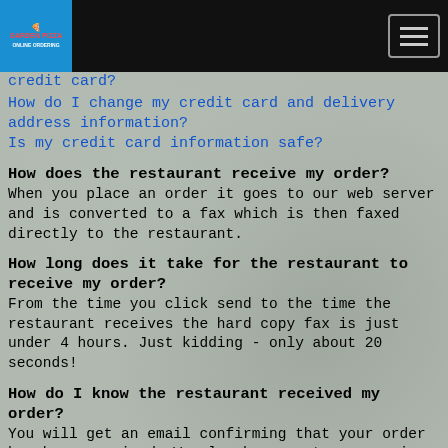Garden Pizza
credit card?
How do I change my credit card and delivery address information?
Is my credit card information safe?
How does the restaurant receive my order?
When you place an order it goes to our web server and is converted to a fax which is then faxed directly to the restaurant.
How long does it take for the restaurant to receive my order?
From the time you click send to the time the restaurant receives the hard copy fax is just under 4 hours. Just kidding - only about 20 seconds!
How do I know the restaurant received my order?
You will get an email confirming that your order has been received. We also have customer service people standing by, monitoring the site and confirming orders directly with the